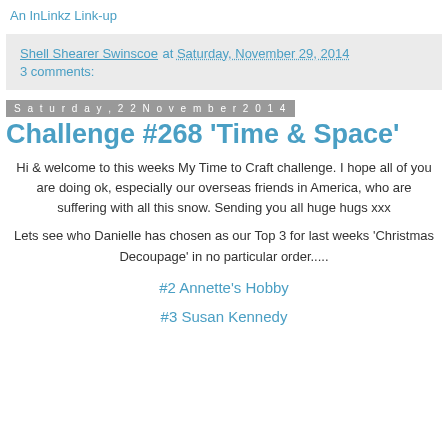An InLinkz Link-up
Shell Shearer Swinscoe at Saturday, November 29, 2014
3 comments:
Saturday, 22 November 2014
Challenge #268 'Time & Space'
Hi & welcome to this weeks My Time to Craft challenge. I hope all of you are doing ok, especially our overseas friends in America, who are suffering with all this snow. Sending you all huge hugs xxx
Lets see who Danielle has chosen as our Top 3 for last weeks 'Christmas Decoupage' in no particular order.....
#2 Annette's Hobby
#3 Susan Kennedy